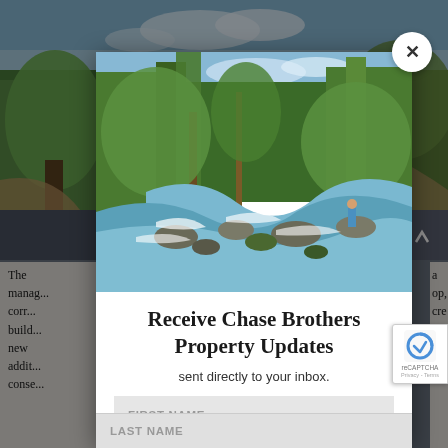[Figure (screenshot): Background webpage showing outdoor landscape property photos with trees and a dark navigation bar, partially obscured by a modal popup overlay]
[Figure (photo): Modal popup photo showing a rocky mountain creek or stream with clear water, surrounded by green forest trees, with a person standing on rocks in the background]
Receive Chase Brothers Property Updates
sent directly to your inbox.
FIRST NAME
LAST NAME
The ... as a manager's ... barn, shop, corrals and well ... also a ... acre building site still available for future buyer to build a new home to enjoy ... valley and ... In addition ... conservancy ... more ... acres ...
[Figure (logo): reCAPTCHA logo badge on right side of screen]